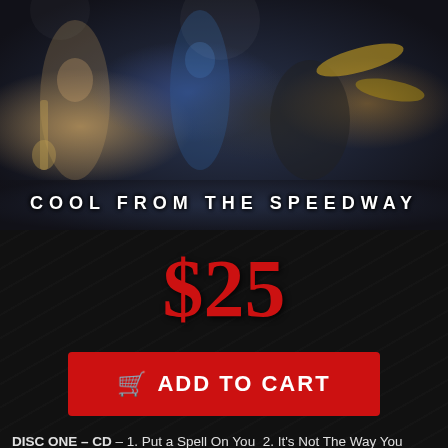[Figure (photo): Rock band performing live on stage with multiple musicians including guitarists and a drummer with cymbals visible]
COOL FROM THE SPEEDWAY
$25
ADD TO CART
DISC ONE – CD – 1. Put a Spell On You  2. It's Not The Way You Rock  3. Cool From The Wire  4. Get It Right  5.